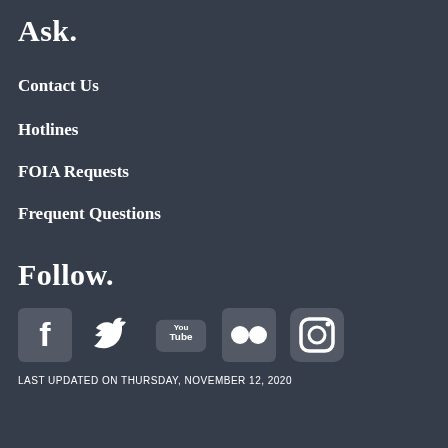Ask.
Contact Us
Hotlines
FOIA Requests
Frequent Questions
Follow.
[Figure (infographic): Social media icons: Facebook, Twitter, YouTube, Flickr, Instagram]
LAST UPDATED ON THURSDAY, NOVEMBER 12, 2020